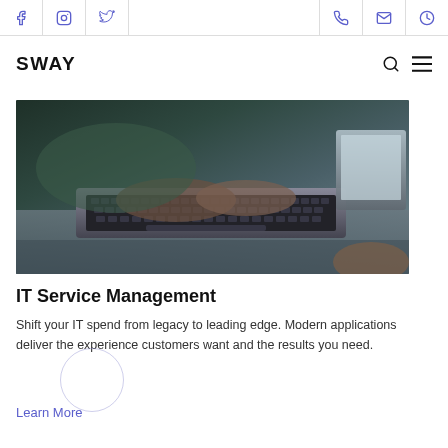SWAY — social icons: Facebook, Instagram, Twitter | phone, mail, clock
[Figure (photo): Close-up photo of a person's hands typing on a laptop keyboard on a desk, dark moody tone]
IT Service Management
Shift your IT spend from legacy to leading edge. Modern applications deliver the experience customers want and the results you need.
Learn More